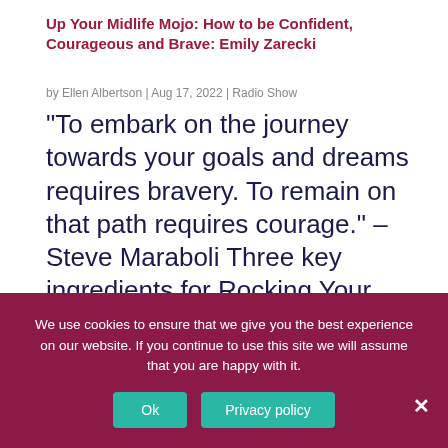Up Your Midlife Mojo: How to be Confident, Courageous and Brave: Emily Zarecki
by Ellen Albertson | Aug 17, 2022 | Radio Show
“To embark on the journey towards your goals and dreams requires bravery. To remain on that path requires courage.” – Steve Maraboli Three key ingredients for Rocking Your Midlife are: Courage, Confidence, and Bravery. In this week's show we're going to...
We use cookies to ensure that we give you the best experience on our website. If you continue to use this site we will assume that you are happy with it.